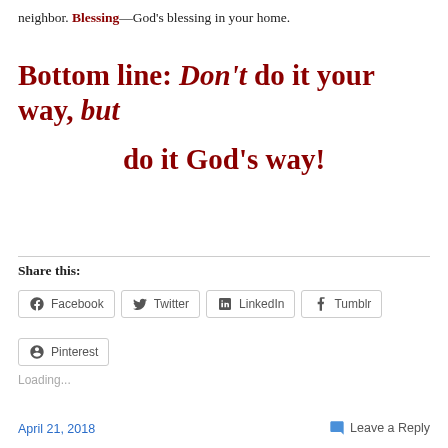neighbor. Blessing—God's blessing in your home.
Bottom line: Don't do it your way, but do it God's way!
Share this:
Facebook  Twitter  LinkedIn  Tumblr  Pinterest
Loading...
April 21, 2018   Leave a Reply